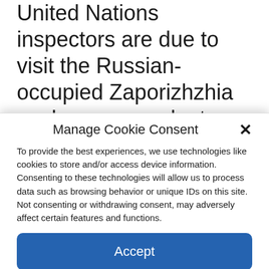United Nations inspectors are due to visit the Russian-occupied Zaporizhzhia nuclear power plant – Europe's largest nuclear facility – as they seek to safeguard the site amid artillery shelling that has prompted global fears of disaster. The International Atomic Energy Agency (IAEA) mission arrived in the southern city of Zaporizhzhia, located
Manage Cookie Consent
To provide the best experiences, we use technologies like cookies to store and/or access device information. Consenting to these technologies will allow us to process data such as browsing behavior or unique IDs on this site. Not consenting or withdrawing consent, may adversely affect certain features and functions.
Accept
Cookie Policy